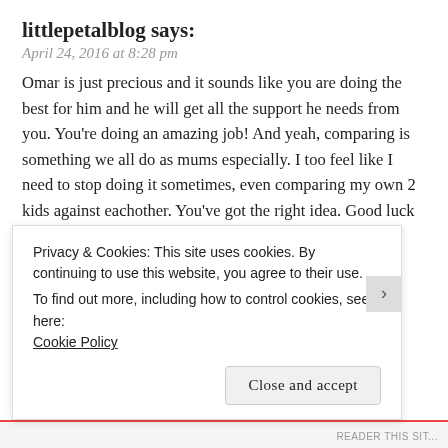littlepetalblog says:
April 24, 2016 at 8:28 pm
Omar is just precious and it sounds like you are doing the best for him and he will get all the support he needs from you. You're doing an amazing job! And yeah, comparing is something we all do as mums especially. I too feel like I need to stop doing it sometimes, even comparing my own 2 kids against eachother. You've got the right idea. Good luck with everything X
★ Liked by 1 person
REPLY
Privacy & Cookies: This site uses cookies. By continuing to use this website, you agree to their use.
To find out more, including how to control cookies, see here:
Cookie Policy
Close and accept